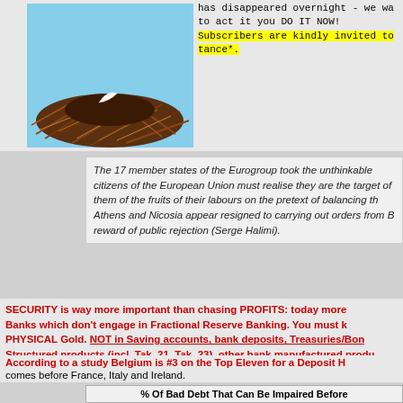[Figure (photo): A bird's nest made of twigs with a white feather, photographed against a blue sky background.]
has disappeared overnight - we wa to act it you DO IT NOW! Subscribers are kindly invited to tance*.
The 17 member states of the Eurogroup took the unthinkable citizens of the European Union must realise they are the target of them of the fruits of their labours on the pretext of balancing th Athens and Nicosia appear resigned to carrying out orders from B reward of public rejection (Serge Halimi).
SECURITY is way more important than chasing PROFITS: today more Banks which don't engage in Fractional Reserve Banking. You must k PHYSICAL Gold. NOT in Saving accounts, bank deposits, Treasuries/Bon Structured products (incl. Tak. 21, Tak. 23), other bank manufactured produ about the safety of certain investment instruments you are invested in*.
According to a study Belgium is #3 on the Top Eleven for a Deposit H comes before France, Italy and Ireland.
% Of Bad Debt That Can Be Impaired Before